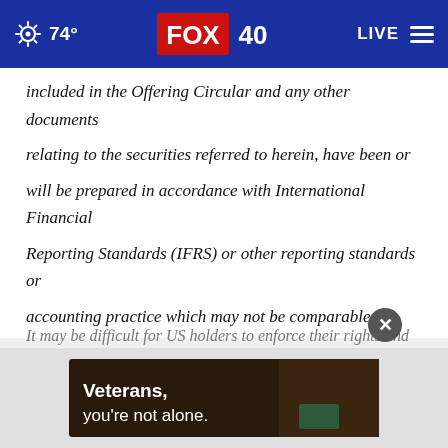74° | FOX 40 | LIVE
included in the Offering Circular and any other documents relating to the securities referred to herein, have been or will be prepared in accordance with International Financial Reporting Standards (IFRS) or other reporting standards or accounting practice which may not be comparable to financial statements of companies in the United States or other companies whose financial statements are prepared in accordance with generally accepted accounting principles in the United States (US GAAP).
[Figure (screenshot): Advertisement banner: Veterans, you're not alone. with dark background and image of a person.]
It may be difficult for US holders to enforce their rights and...